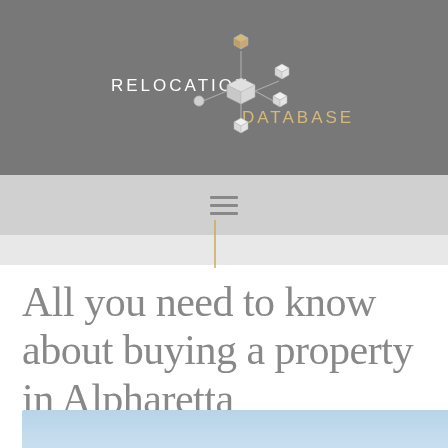[Figure (logo): Relocation Database logo with network/cube icon graphic. Text reads RELOCATION DATABASE on a dark grey background.]
RELOCATION DATABASE
All you need to know about buying a property in Alpharetta
June 15, 2022  /  Jack X  /  New place for living
[Figure (photo): Partial view of a light blue toned photo at the bottom of the page.]